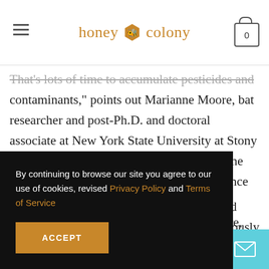honey colony
That's lots of time to accumulate pesticides and contaminants," points out Marianne Moore, bat researcher and post-Ph.D. and doctoral associate at New York State University at Stony Brook. Moore has been studying the immune responses of White Nose Syndrome bats since 2008 and the immune systems of bats in relation to rabies ecology, mercury exposure, and stress
By continuing to browse our site you agree to our use of cookies, revised Privacy Policy and Terms of Service
angered
a previously
join the